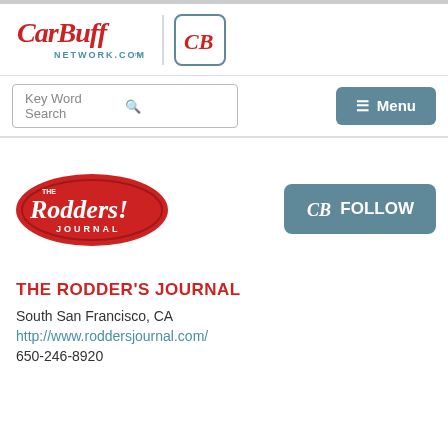[Figure (logo): CarBuff Network.com logo in red script with 'CB' monogram in a teal bordered box]
Key Word Search
☰ Menu
[Figure (logo): The Rodder's Journal logo - red badge shape with white script text]
CB FOLLOW
THE RODDER'S JOURNAL
South San Francisco, CA
http://www.roddersjournal.com/
650-246-8920